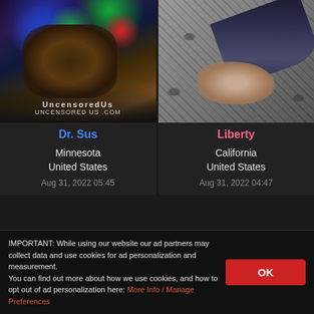[Figure (photo): DJ leaning over equipment with headphones, colorful lights in background, UncensoredUs watermark]
Dr. Sus
Minnesota
United States
Aug 31, 2022 05:45
[Figure (photo): Person with blue/black mohawk-style hair lying on leopard print background]
Liberty
California
United States
Aug 31, 2022 04:47
[Figure (photo): Partial photo of person against red/orange background]
[Figure (photo): Partial photo of person outdoors]
IMPORTANT: While using our website our ad partners may collect data and use cookies for ad personalization and measurement. You can find out more about how we use cookies, and how to opt out of ad personalization here: More Info / Manage Preferences